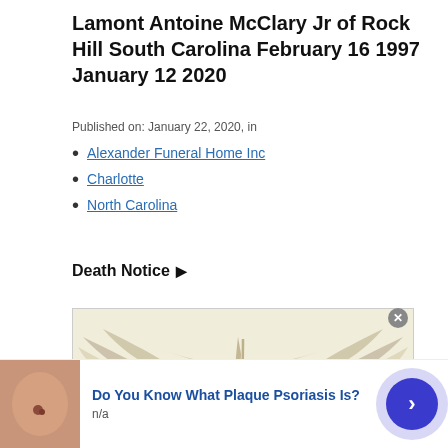Lamont Antoine McClary Jr of Rock Hill South Carolina February 16 1997 January 12 2020
Published on: January 22, 2020, in
Alexander Funeral Home Inc
Charlotte
North Carolina
Death Notice ▶
[Figure (illustration): Decorative wings illustration on a light cream/beige background, stylized angel or dove wings spreading outward]
Do You Know What Plaque Psoriasis Is?
n/a